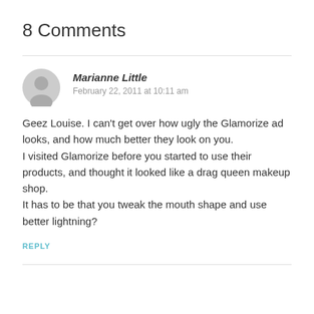8 Comments
Marianne Little
February 22, 2011 at 10:11 am
Geez Louise. I can't get over how ugly the Glamorize ad looks, and how much better they look on you.
I visited Glamorize before you started to use their products, and thought it looked like a drag queen makeup shop.
It has to be that you tweak the mouth shape and use better lightning?
REPLY